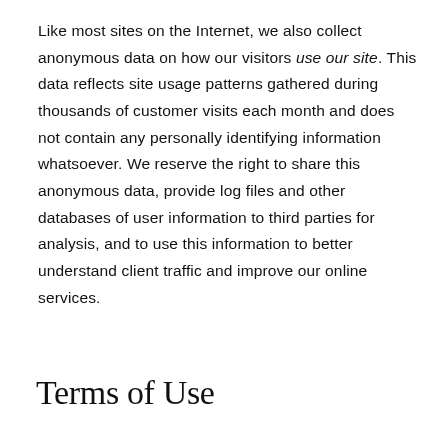Like most sites on the Internet, we also collect anonymous data on how our visitors use our site. This data reflects site usage patterns gathered during thousands of customer visits each month and does not contain any personally identifying information whatsoever. We reserve the right to share this anonymous data, provide log files and other databases of user information to third parties for analysis, and to use this information to better understand client traffic and improve our online services.
Terms of Use